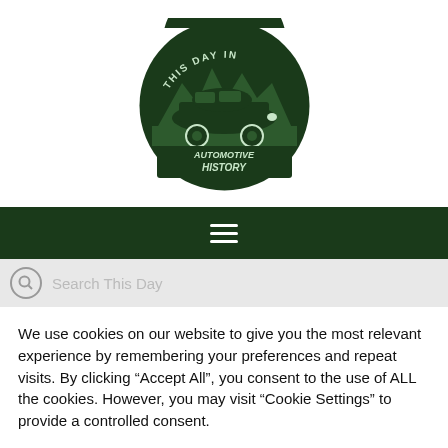[Figure (logo): Circular dark green logo with a vintage car silhouette, mountain trees background, and text 'THIS DAY IN' at top and 'AUTOMOTIVE HISTORY' at bottom]
[Figure (other): Dark green navigation bar with hamburger menu icon (three horizontal white lines)]
[Figure (other): Light grey search bar with circular search icon and placeholder text 'Search This Day']
We use cookies on our website to give you the most relevant experience by remembering your preferences and repeat visits. By clicking “Accept All”, you consent to the use of ALL the cookies. However, you may visit "Cookie Settings" to provide a controlled consent.
[Figure (other): Two buttons: 'Cookie Settings' (grey) and 'Accept All' (green)]